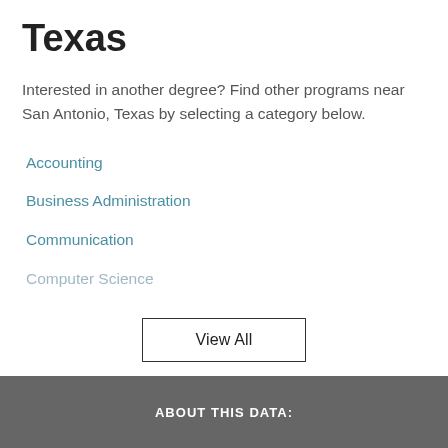Texas
Interested in another degree? Find other programs near San Antonio, Texas by selecting a category below.
Accounting
Business Administration
Communication
Computer Science
View All
ABOUT THIS DATA: